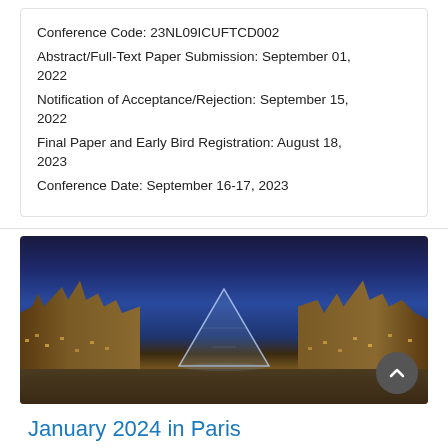Conference Code: 23NL09ICUFTCD002
Abstract/Full-Text Paper Submission: September 01, 2022
Notification of Acceptance/Rejection: September 15, 2022
Final Paper and Early Bird Registration: August 18, 2023
Conference Date: September 16-17, 2023
[Figure (photo): Nighttime photograph of the Louvre Museum in Paris, France, showing the iconic glass pyramid in the center, flanked by the classical palace wings illuminated in warm golden light, under a deep blue twilight sky.]
January 2024 in Paris